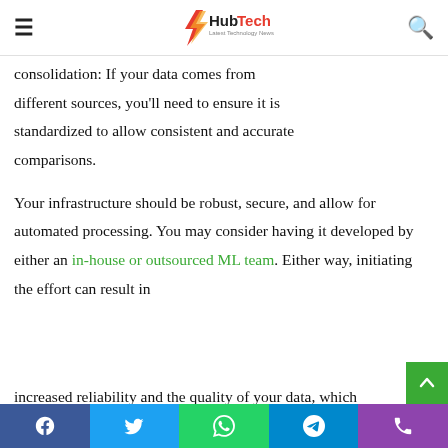HubTech — Latest Technology News
consolidation: If your data comes from different sources, you'll need to ensure it is standardized to allow consistent and accurate comparisons.
Your infrastructure should be robust, secure, and allow for automated processing. You may consider having it developed by either an in-house or outsourced ML team. Either way, initiating the effort can result in increased reliability and the quality of your data, which
Facebook | Twitter | WhatsApp | Telegram | Phone